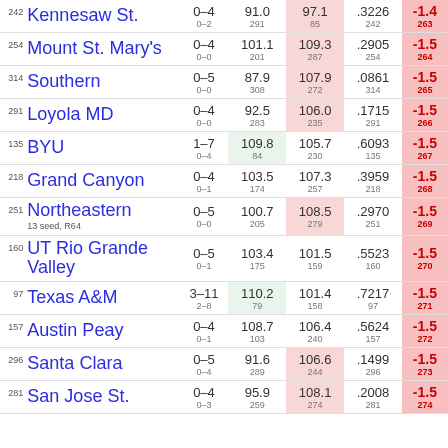| Rank | Team | Record | Stat1 | Stat2 | Stat3 | Score |
| --- | --- | --- | --- | --- | --- | --- |
| 242 | Kennesaw St. | 0–4 / 0–2 | 91.0 / 291 | 97.1 / 85 | .3226 / 242 | -1.4 / 263 |
| 254 | Mount St. Mary's | 0–4 / 0–0 | 101.1 / 201 | 109.3 / 287 | .2905 / 254 | -1.5 / 264 |
| 314 | Southern | 0–5 / 0–0 | 87.9 / 308 | 107.9 / 272 | .0861 / 314 | -1.5 / 265 |
| 291 | Loyola MD | 0–4 / 0–0 | 92.5 / 283 | 106.0 / 235 | .1715 / 291 | -1.5 / 266 |
| 135 | BYU | 1–7 / 0–4 | 109.8 / 84 | 105.7 / 230 | .6093 / 135 | -1.5 / 267 |
| 218 | Grand Canyon | 0–4 / 0–1 | 103.5 / 174 | 107.3 / 257 | .3959 / 218 | -1.5 / 268 |
| 251 | Northeastern 13 seed, R64 | 0–5 / 0–0 | 100.7 / 205 | 108.5 / 279 | .2970 / 251 | -1.5 / 269 |
| 160 | UT Rio Grande Valley | 0–5 / 0–1 | 103.4 / 175 | 101.5 / 159 | .5523 / 160 | -1.5 / 270 |
| 97 | Texas A&M | 3–11 / 2–8 | 110.2 / 79 | 101.4 / 158 | .7217 / 97 | -1.5 / 271 |
| 157 | Austin Peay | 0–4 / 0–1 | 108.7 / 103 | 106.4 / 240 | .5624 / 157 | -1.5 / 272 |
| 296 | Santa Clara | 0–5 / 0–4 | 91.6 / 289 | 106.6 / 244 | .1499 / 296 | -1.5 / 273 |
| 281 | San Jose St. | 0–4 / 0–3 | 95.9 / 259 | 108.1 / 274 | .2008 / 281 | -1.5 / 274 |